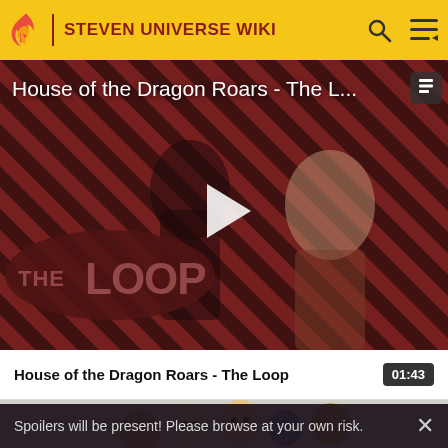STEVEN UNIVERSE WIKI
[Figure (screenshot): Video thumbnail showing House of the Dragon Roars - The Loop promotional video with two characters against a diagonal striped red/dark background, featuring The Loop logo at the bottom left and a play button overlay]
House of the Dragon Roars - The Loop
01:43
[Figure (screenshot): Thumbnail strip showing Steven Universe cartoon characters]
Spoilers will be present! Please browse at your own risk.